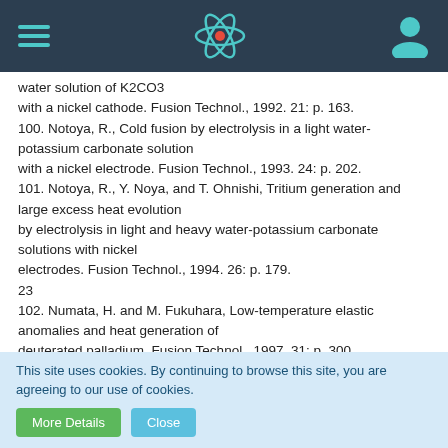Navigation header with hamburger menu, atom icon, and user icon
water solution of K2CO3 with a nickel cathode. Fusion Technol., 1992. 21: p. 163.
100. Notoya, R., Cold fusion by electrolysis in a light water-potassium carbonate solution with a nickel electrode. Fusion Technol., 1993. 24: p. 202.
101. Notoya, R., Y. Noya, and T. Ohnishi, Tritium generation and large excess heat evolution by electrolysis in light and heavy water-potassium carbonate solutions with nickel electrodes. Fusion Technol., 1994. 26: p. 179.
23
102. Numata, H. and M. Fukuhara, Low-temperature elastic anomalies and heat generation of deuterated palladium. Fusion Technol., 1997. 31: p. 300.
103. Ohmori, T. and M. Enyo, Excess heat evolution during
This site uses cookies. By continuing to browse this site, you are agreeing to our use of cookies.